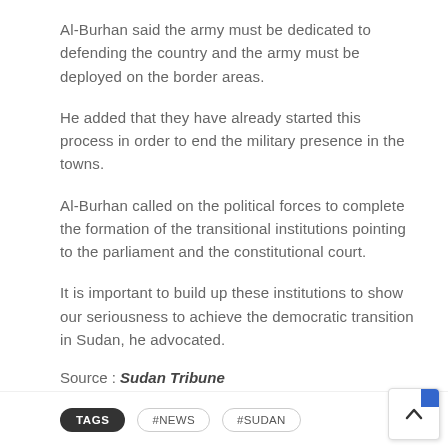Al-Burhan said the army must be dedicated to defending the country and the army must be deployed on the border areas.
He added that they have already started this process in order to end the military presence in the towns.
Al-Burhan called on the political forces to complete the formation of the transitional institutions pointing to the parliament and the constitutional court.
It is important to build up these institutions to show our seriousness to achieve the democratic transition in Sudan, he advocated.
Source : Sudan Tribune
TAGS  #NEWS  #SUDAN